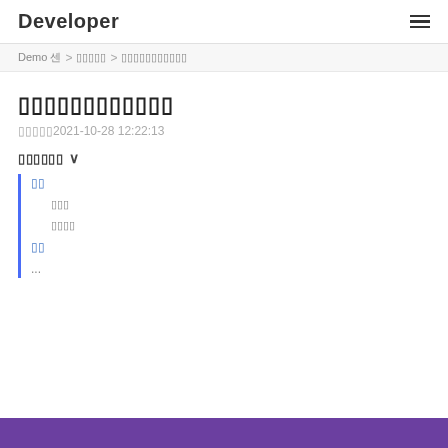Developer
Demo 센 > 미미미미미 > 미미미미미미미미미미미
미미미미미미미미미미미미
미미미미2021-10-28 12:22:13
미미미미미미 ∨
미미
미미미
미미미미
미미
...